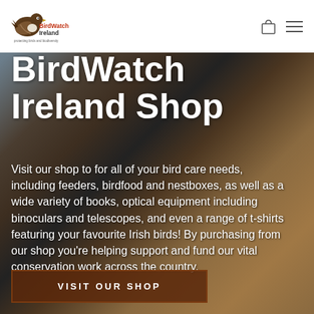[Figure (logo): BirdWatch Ireland logo with bird illustration and text 'protecting birds and biodiversity']
[Figure (photo): Close-up background photo of stuffed toy bird figures (bluebird and goldfinch/puffin) against blurred warm-toned background]
BirdWatch Ireland Shop
Visit our shop to for all of your bird care needs, including feeders, birdfood and nestboxes, as well as a wide variety of books, optical equipment including binoculars and telescopes, and even a range of t-shirts featuring your favourite Irish birds! By purchasing from our shop you're helping support and fund our vital conservation work across the country.
VISIT OUR SHOP